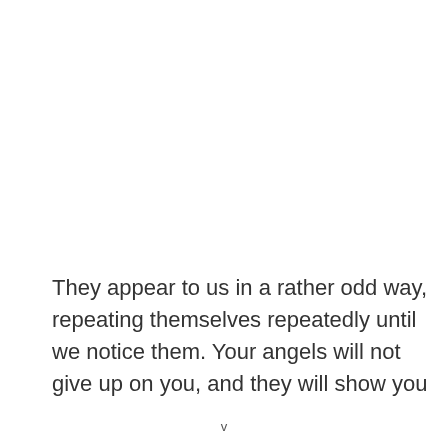They appear to us in a rather odd way, repeating themselves repeatedly until we notice them. Your angels will not give up on you, and they will show you
v